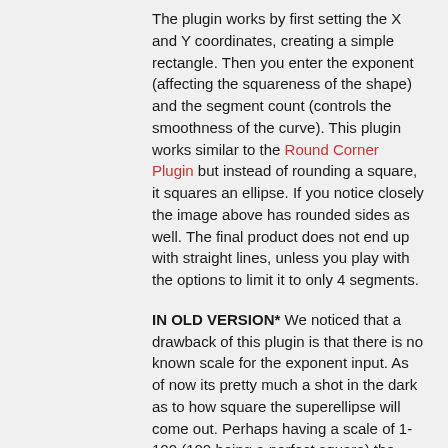The plugin works by first setting the X and Y coordinates, creating a simple rectangle. Then you enter the exponent (affecting the squareness of the shape) and the segment count (controls the smoothness of the curve). This plugin works similar to the Round Corner Plugin but instead of rounding a square, it squares an ellipse. If you notice closely the image above has rounded sides as well. The final product does not end up with straight lines, unless you play with the options to limit it to only 4 segments.
IN OLD VERSION* We noticed that a drawback of this plugin is that there is no known scale for the exponent input. As of now its pretty much a shot in the dark as to how square the superellipse will come out. Perhaps having a scale of 1-100 (100 being a perfect square) the plugin would be more manageable.
Overall, The Superellipse plugin created by